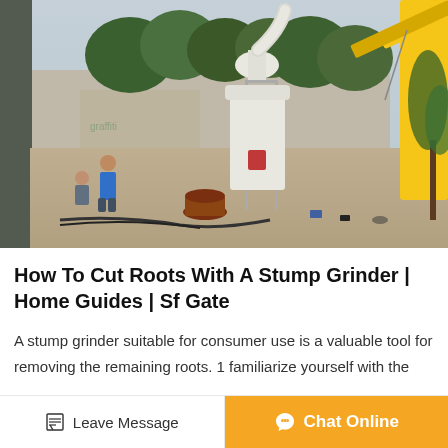[Figure (photo): Outdoor industrial scene showing a large white grinding/milling machine being installed in a courtyard. Workers are visible on the left side, a yellow crane arm is visible on the right, trees and a wall are in the background. A brown pot is on the ground in the foreground.]
How To Cut Roots With A Stump Grinder | Home Guides | Sf Gate
A stump grinder suitable for consumer use is a valuable tool for removing the remaining roots. 1 familiarize yourself with the
Leave Message
Chat Online